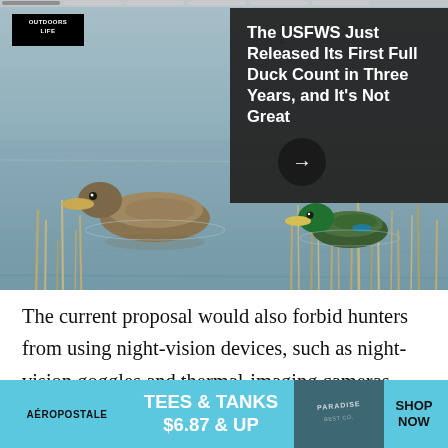[Figure (photo): Two ducks swimming on shallow water with reeds/marsh vegetation in background; bluish-gray water tones. Top portion shows a browser-style notification card overlay in dark gray with close/menu icons and progress bar segments at top.]
The USFWS Just Released Its First Full Duck Count in Three Years, and It's Not Great
The current proposal would also forbid hunters from using night-vision devices, such as night-vision goggles and thermal-imaging cameras, within 48 hours of any big game hunt. Included in the proposal
[Figure (photo): Aéropostale advertisement banner: light blue background with brand name on left, 'TEES & TANKS $6.87 & UP' text in center, clothing image in the middle-right, and 'SHOP NOW' text on far right.]